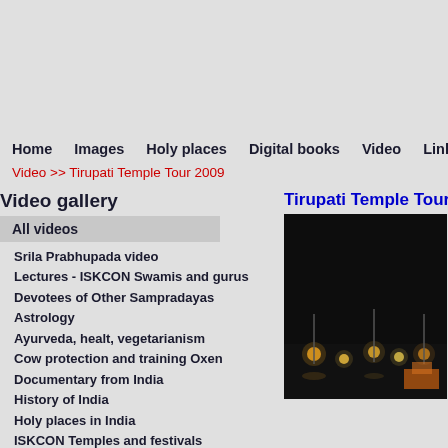[Figure (other): Advertisement area (gray background)]
Home  Images  Holy places  Digital books  Video  Links
Video >> Tirupati Temple Tour 2009
Video gallery
All videos
Srila Prabhupada video
Lectures - ISKCON Swamis and gurus
Devotees of Other Sampradayas
Astrology
Ayurveda, healt, vegetarianism
Cow protection and training Oxen
Documentary from India
History of India
Holy places in India
ISKCON Temples and festivals
ISKCON controversy
Tirupati Temple Tour
[Figure (photo): Night photo of Tirupati Temple with lights visible against dark sky]